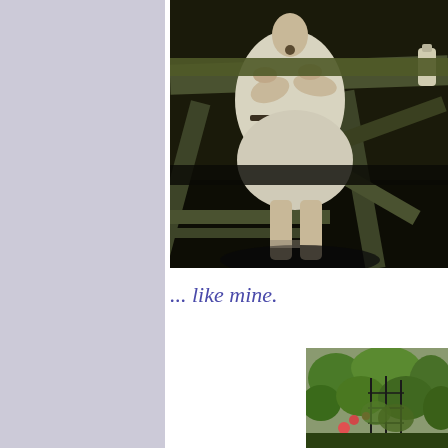[Figure (photo): Black and white / sepia-toned photograph of a person sitting at a dark-painted picnic table outdoors, wearing a light-colored dress, with a bottle visible on the table surface.]
... like mine.
[Figure (photo): Color photograph of lush green garden foliage with plants and a metal fence or trellis visible.]